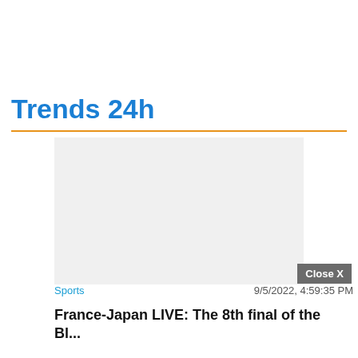Trends 24h
[Figure (other): Advertisement placeholder box with light gray background]
Close X
Sports
9/5/2022, 4:59:35 PM
France-Japan LIVE: The 8th final of the Bl...